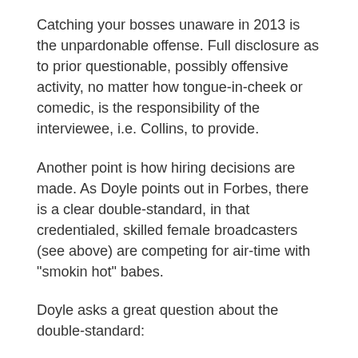Catching your bosses unaware in 2013 is the unpardonable offense. Full disclosure as to prior questionable, possibly offensive activity, no matter how tongue-in-cheek or comedic, is the responsibility of the interviewee, i.e. Collins, to provide.
Another point is how hiring decisions are made. As Doyle points out in Forbes, there is a clear double-standard, in that credentialed, skilled female broadcasters (see above) are competing for air-time with "smokin hot" babes.
Doyle asks a great question about the double-standard:
How long would Brent Musburger last if his contract depended on his ability to attract female viewers, measured against the likes of Ryan Gosling?